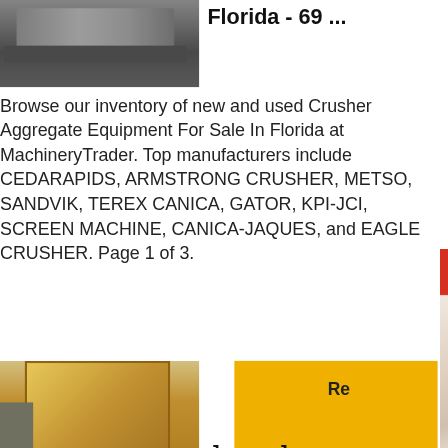[Figure (photo): Industrial crusher/aggregate equipment on a rooftop or yard setting, photograph]
Florida - 69 ...
Browse our inventory of new and used Crusher Aggregate Equipment For Sale In Florida at MachineryTrader. Top manufacturers include CEDARAPIDS, ARMSTRONG CRUSHER, METSO, SANDVIK, TEREX CANICA, GATOR, KPI-JCI, SCREEN MACHINE, CANICA-JAQUES, and EAGLE CRUSHER. Page 1 of 3.
[Figure (photo): Jaques Jaw Crusher - large yellow industrial crushing machine at a construction/mining site]
[Figure (photo): Sidebar advertisement: woman with headset, 24Hrs Online customer support, Need questions & suggestion, Chat Now button, Enquiry, limingjlmofen]
Re
Jaques Jaw Crushing Se International
Product Details: Jaques Jaw Crusher. Inventory ID Manufacturer: Jaques. Condition: Used. Quantity: Kwinana Perth Western Australia. Information: Jac Single Toggle Jaw Crusher Main Frame. Further d